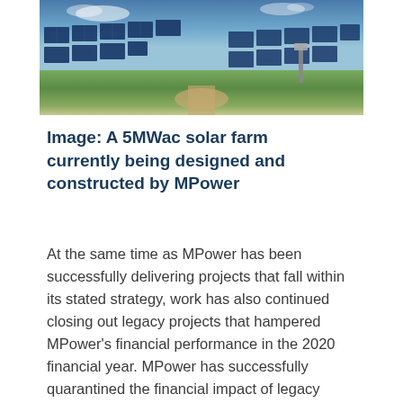[Figure (photo): Aerial/ground-level view of a large solar farm with rows of solar panels and monitoring equipment under a blue sky]
Image: A 5MWac solar farm currently being designed and constructed by MPower
At the same time as MPower has been successfully delivering projects that fall within its stated strategy, work has also continued closing out legacy projects that hampered MPower's financial performance in the 2020 financial year. MPower has successfully quarantined the financial impact of legacy projects and has not recorded any ongoing project losses from legacy projects since the start of the 2021 financial year.